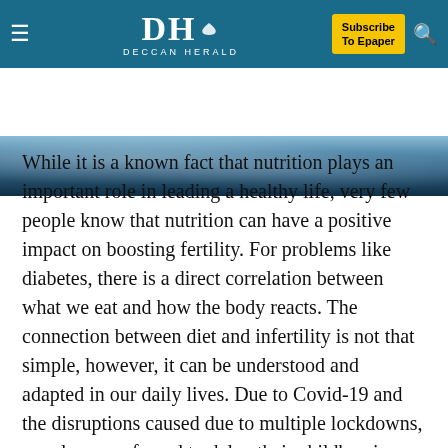DH DECCAN HERALD | Subscribe To Epaper
[Figure (photo): Hero image strip showing a winter/mountain landscape with blue and grey tones]
While it is a known fact that nutrition plays an important role in leading a healthy life, very few people know that nutrition can have a positive impact on boosting fertility. For problems like diabetes, there is a direct correlation between what we eat and how the body reacts. The connection between diet and infertility is not that simple, however, it can be understood and adapted in our daily lives. Due to Covid-19 and the disruptions caused due to multiple lockdowns, couples were forced to delay their childbearing plans, resulting in deference of pregnancy, which also meant increased age and its related complications. With the help of the